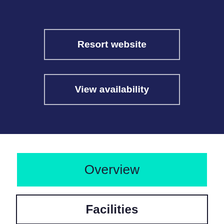Resort website
View availability
Overview
Facilities